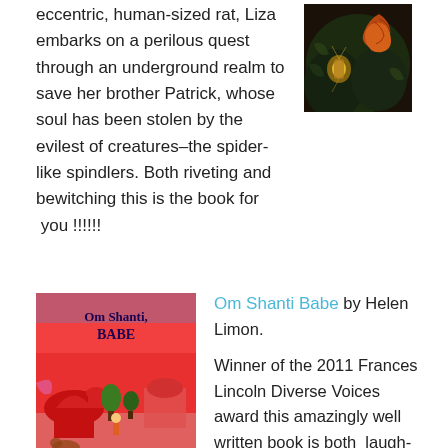eccentric, human-sized rat, Liza embarks on a perilous quest through an underground realm to save her brother Patrick, whose soul has been stolen by the evilest of creatures–the spider-like spindlers. Both riveting and bewitching this is the book for  you !!!!!!
[Figure (illustration): Book cover image showing a dark fantasy illustration with a snake/serpent and atmospheric lighting]
[Figure (illustration): Book cover for Om Shanti Babe - colorful illustrated cover with Indian architectural motifs, trees, figures, on a pink/red background]
Om Shanti Babe by Helen Limon.

Winner of the 2011 Frances Lincoln Diverse Voices award this amazingly well written book is both  laugh- out-loud-funny and a real roller-coaster of discovery.Cass is on buying trip to India